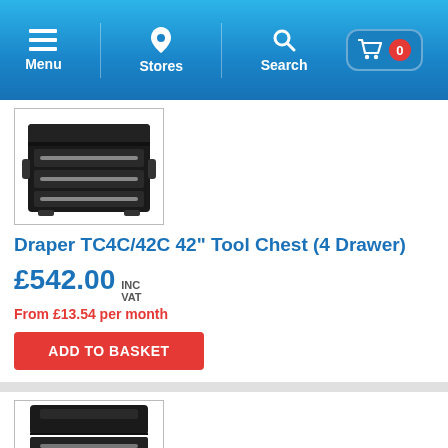Menu | Stores | Search | Basket 0
[Figure (photo): Black 4-drawer tool chest with chrome handles on white background, inside a bordered box]
Draper TC4C/42C 42" Tool Chest (4 Drawer)
£542.00 INC VAT
From £13.54 per month
ADD TO BASKET
[Figure (photo): Partial view of a black tool chest product, bottom of the page]